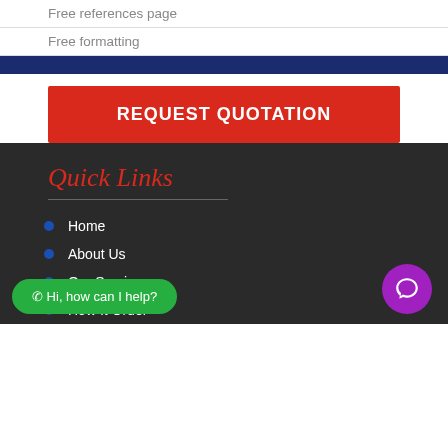Free references page
Free formatting
REQUEST QUOTATION
Quick Links
Home
About Us
Our Services
How It Order
Hi, how can I help?